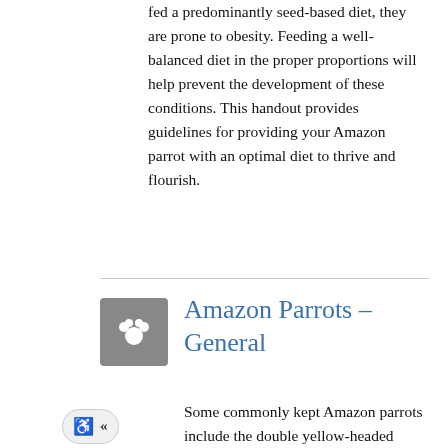fed a predominantly seed-based diet, they are prone to obesity. Feeding a well-balanced diet in the proper proportions will help prevent the development of these conditions. This handout provides guidelines for providing your Amazon parrot with an optimal diet to thrive and flourish.
Amazon Parrots – General
Some commonly kept Amazon parrots include the double yellow-headed Amazon, yellow-naped Amazon, blue-fronted Amazon, green-cheeked Amazon, and orange-winged Amazon. They bond readily, often with one member of the family. This one-on-one bond occasionally may lead to aggression towards others. Amazons are